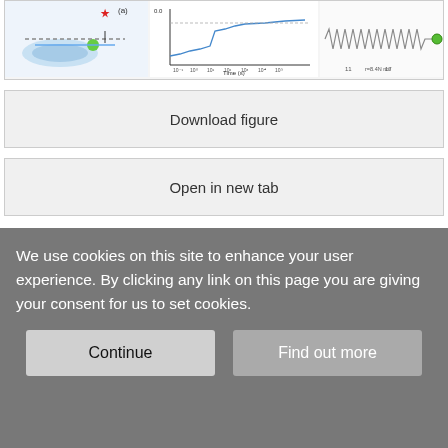[Figure (illustration): Scientific figure strip showing a DNA construct sketch (left), an example trajectory graph of R-loop formation (middle), and a mechanical/waveform schematic (right).]
Download figure
Open in new tab
Figure 4.

Locked R-loop formation on targets with single internal mismatches
(A) Sketch of the DNA construct containing a single C:C mismatch at various positions along the target (left). Example trajectory of full R-loop formation for a mismatch at position 17 after applying negative supercoiling. The full R-loop is formed after multiple intermediate state events.

(B) Successive R-loop formation events for the WT target (gray) and targets with mismatches at position 5 (orange), 7 (purple), 11 (red) and 17 (dark blue) at a torque of 5.2 pN nm. Colored sections represent the actual R-loop
We use cookies on this site to enhance your user experience. By clicking any link on this page you are giving your consent for us to set cookies.